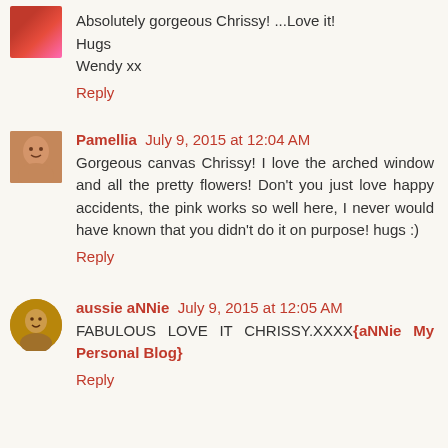Absolutely gorgeous Chrissy! ...Love it!
Hugs
Wendy xx
Reply
Pamellia  July 9, 2015 at 12:04 AM
Gorgeous canvas Chrissy! I love the arched window and all the pretty flowers! Don't you just love happy accidents, the pink works so well here, I never would have known that you didn't do it on purpose! hugs :)
Reply
aussie aNNie  July 9, 2015 at 12:05 AM
FABULOUS LOVE IT CHRISSY.XXXX{aNNie My Personal Blog}
Reply